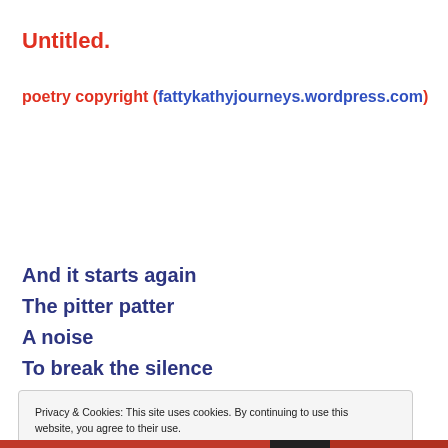Untitled.
poetry copyright (fattykathyjourneys.wordpress.com)
And it starts again
The pitter patter
A noise
To break the silence
Privacy & Cookies: This site uses cookies. By continuing to use this website, you agree to their use.
To find out more, including how to control cookies, see here: Cookie Policy
Close and accept